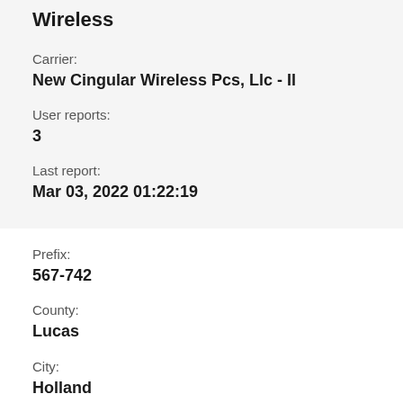Wireless
Carrier:
New Cingular Wireless Pcs, Llc - Il
User reports:
3
Last report:
Mar 03, 2022 01:22:19
Prefix:
567-742
County:
Lucas
City:
Holland
State: